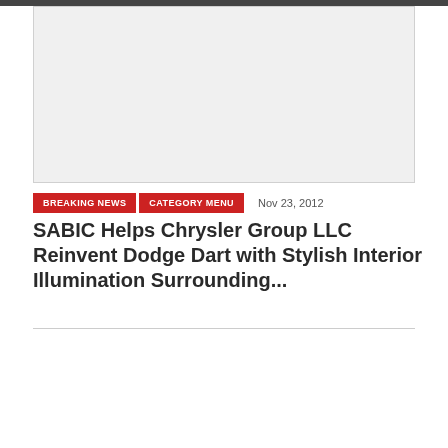[Figure (other): Advertisement placeholder area with light gray background]
BREAKING NEWS   CATEGORY MENU   Nov 23, 2012
SABIC Helps Chrysler Group LLC Reinvent Dodge Dart with Stylish Interior Illumination Surrounding...